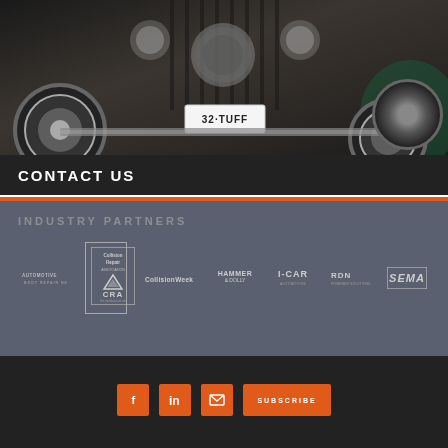[Figure (photo): Black vintage hot rod car (license plate '32-TUFF') with chrome wheels, photographed from the front low angle]
CONTACT US
INDUSTRY PARTNERS
[Figure (logo): Industry partner logos: Automotive, Collision Repair Association (CRA), CollisionWeek, Hammer & Dolly, I-CAR, RDN, SEMA]